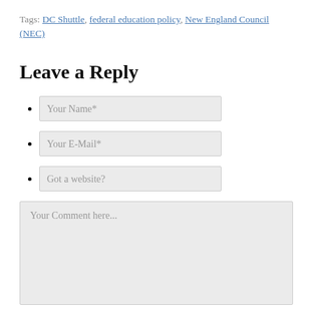Tags: DC Shuttle, federal education policy, New England Council (NEC)
Leave a Reply
Your Name*
Your E-Mail*
Got a website?
Your Comment here...